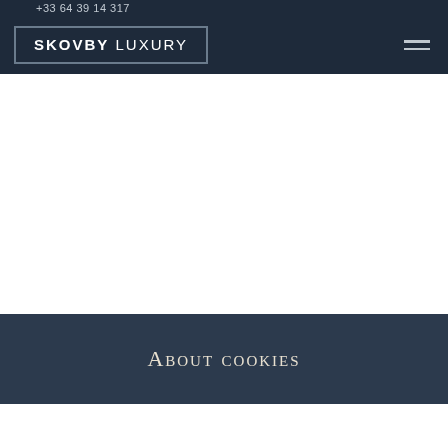+33 64 39 14 317
[Figure (logo): Skovby Luxury logo — bold SKOVBY followed by light-weight LUXURY text, inside a rectangular border, on dark navy background]
About cookies